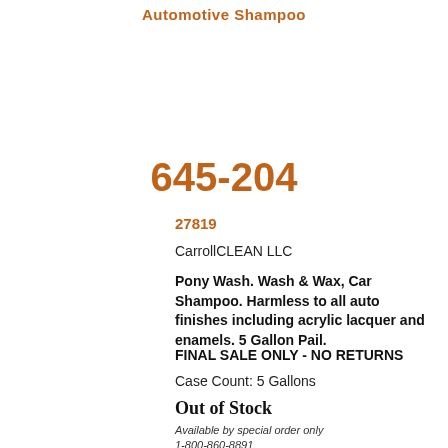Automotive Shampoo
645-204
27819
CarrollCLEAN LLC
Pony Wash. Wash & Wax, Car Shampoo. Harmless to all auto finishes including acrylic lacquer and enamels. 5 Gallon Pail.
FINAL SALE ONLY - NO RETURNS
Case Count: 5 Gallons
Out of Stock
Available by special order only
1-800-860-8891